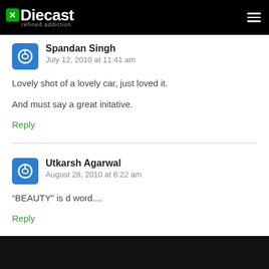Diecast refined addiction
Spandan Singh
July 12, 2010 at 11:41 am
Lovely shot of a lovely car, just loved it.

And must say a great initative.
Reply
Utkarsh Agarwal
August 28, 2010 at 6:22 am
“BEAUTY” is d word....
Reply